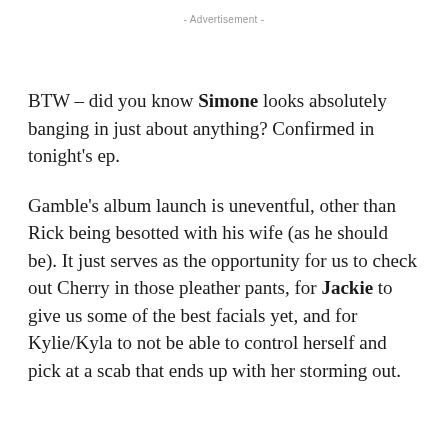- Advertisement -
BTW – did you know Simone looks absolutely banging in just about anything? Confirmed in tonight's ep.
Gamble's album launch is uneventful, other than Rick being besotted with his wife (as he should be). It just serves as the opportunity for us to check out Cherry in those pleather pants, for Jackie to give us some of the best facials yet, and for Kylie/Kyla to not be able to control herself and pick at a scab that ends up with her storming out.